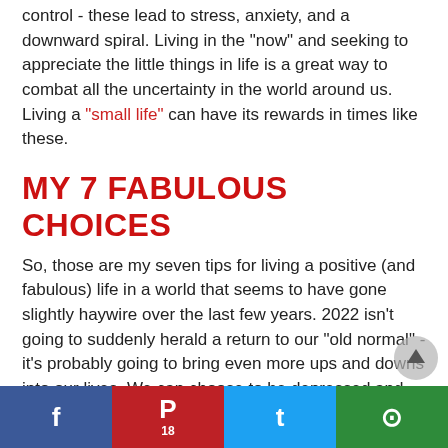control - these lead to stress, anxiety, and a downward spiral. Living in the "now" and seeking to appreciate the little things in life is a great way to combat all the uncertainty in the world around us. Living a "small life" can have its rewards in times like these.
MY 7 FABULOUS CHOICES
So, those are my seven tips for living a positive (and fabulous) life in a world that seems to have gone slightly haywire over the last few years. 2022 isn't going to suddenly herald a return to our "old normal" - it's probably going to bring even more ups and downs into our lives. We can choose to be depressed and angry about that, or we can search for the positives and appreciate all that we have in our lives despite the upheavals we've all experienced.